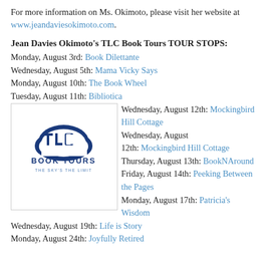For more information on Ms. Okimoto, please visit her website at www.jeandaviesokimoto.com.
Jean Davies Okimoto's TLC Book Tours TOUR STOPS:
Monday, August 3rd: Book Dilettante
Wednesday, August 5th: Mama Vicky Says
Monday, August 10th: The Book Wheel
Tuesday, August 11th: Bibliotica
[Figure (logo): TLC Book Tours logo with cloud graphic and tagline 'THE SKY'S THE LIMIT']
Wednesday, August 12th: Mockingbird Hill Cottage
Thursday, August 13th: BookNAround
Friday, August 14th: Peeking Between the Pages
Monday, August 17th: Patricia's Wisdom
Wednesday, August 19th: Life is Story
Monday, August 24th: Joyfully Retired